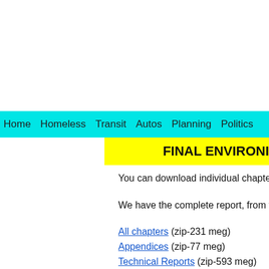Home  Homeless  Transit  Autos  Planning  Politics
FINAL ENVIRONI…
You can download individual chapters from the CRC…
We have the complete report, from the CRC DVD, in…
All chapters (zip-231 meg)
Appendices (zip-77 meg)
Technical Reports (zip-593 meg)
Responses to Comments on CRC Draft EIS (zip-764…
Copy & paste addresses for the above:
http://www.PortlandFacts.com/crc/CRC-FEIS-CRC_…
http://www.PortlandFacts.com/crc/CRC-FEIS-Chapte…